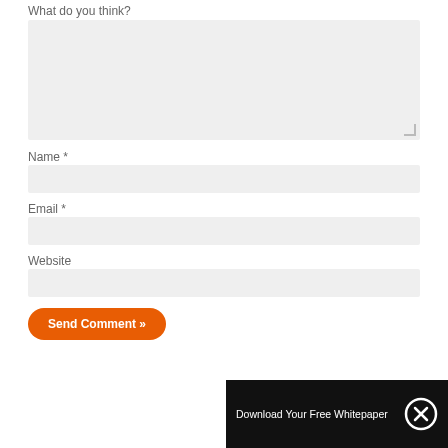What do you think?
[Figure (other): Large textarea input field with light gray background for comment entry]
Name *
[Figure (other): Single-line text input field for name]
Email *
[Figure (other): Single-line text input field for email]
Website
[Figure (other): Single-line text input field for website]
[Figure (other): Orange rounded 'Send Comment »' button]
[Figure (other): Black overlay banner with text 'Download Your Free Whitepaper' and a circular close (X) button]